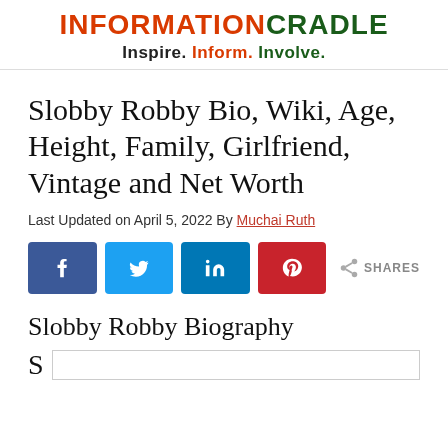INFORMATIONCRADLE - Inspire. Inform. Involve.
Slobby Robby Bio, Wiki, Age, Height, Family, Girlfriend, Vintage and Net Worth
Last Updated on April 5, 2022 By Muchai Ruth
[Figure (infographic): Social share buttons: Facebook, Twitter, LinkedIn, Pinterest, and a share icon with SHARES label]
Slobby Robby Biography